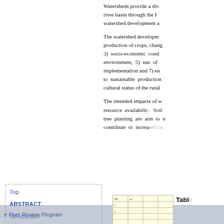Watersheds provide a div... river basin through the f... watershed development a...
The watershed developm... production of crops, chang... 3) socio-economic cond... environment, 5) use of... implementation and 7) en... to sustainable production... cultural status of the rural...
The intended impacts of w... resource availability. Soil... tree planting are aim to m... contribute to increased co...
Top
ABSTRACT
Introduction
Watershed Development and Its Role and Impacts
Watershed Development in India
Case Study of Gokulpura-Goverdhanpura Watershed
[Figure (table-as-image): Small thumbnail of a data table with yellow background, partially visible at bottom right]
Tabl...